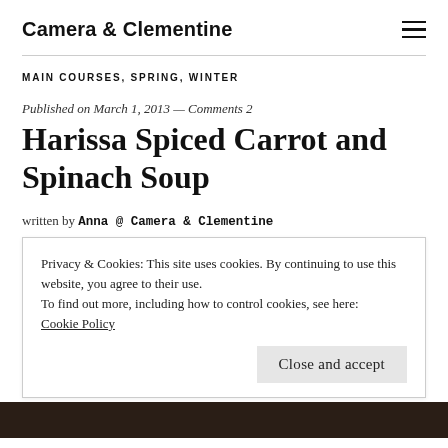Camera & Clementine
MAIN COURSES, SPRING, WINTER
Published on March 1, 2013 — Comments 2
Harissa Spiced Carrot and Spinach Soup
written by Anna @ Camera & Clementine
Privacy & Cookies: This site uses cookies. By continuing to use this website, you agree to their use.
To find out more, including how to control cookies, see here: Cookie Policy
Close and accept
[Figure (photo): Dark photo strip at the bottom of the page, partially visible]